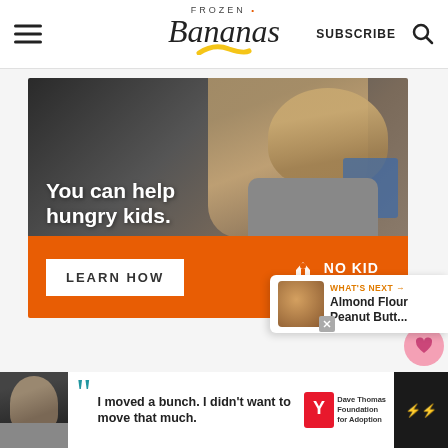Frozen Bananas — SUBSCRIBE
[Figure (photo): Advertisement banner: photo of a young boy eating food, with text 'You can help hungry kids.' and orange bar with 'LEARN HOW' button and No Kid Hungry logo]
[Figure (infographic): Side buttons: heart/like button with count 4, and share button]
4
[Figure (infographic): What's Next callout: thumbnail of baked cookies with label 'WHAT'S NEXT →' and title 'Almond Flour Peanut Butt...']
[Figure (photo): Bottom advertisement bar: Dave Thomas Foundation for Adoption ad with quote 'I moved a bunch. I didn't want to move that much.']